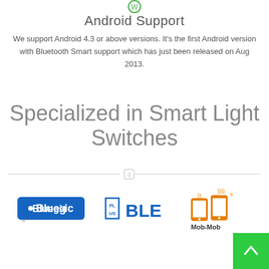[Figure (logo): Small circular icon with a 'W' or similar letter in green, at the top center of page]
Android Support
We support Android 4.3 or above versions. It's the first Android version with Bluetooth Smart support which has just been released on Aug 2013.
Specialized in Smart Light Switches
[Figure (illustration): Horizontal divider line with a small square icon in the center]
[Figure (logo): Bluegic logo in blue with circuit/bluetooth icon]
[Figure (logo): PlusBLE logo in blue block letters]
[Figure (logo): Mob-Mob logo with orange smartphone icons and wifi signal]
[Figure (illustration): Green back-to-top button with white chevron/arrow at bottom right]